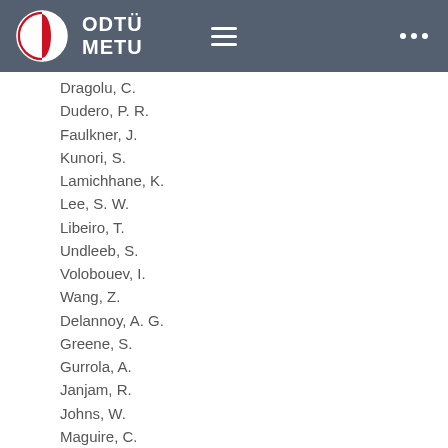ODTÜ METU
Dragolu, C.
Dudero, P. R.
Faulkner, J.
Kunori, S.
Lamichhane, K.
Lee, S. W.
Libeiro, T.
Undleeb, S.
Volobouev, I.
Wang, Z.
Delannoy, A. G.
Greene, S.
Gurrola, A.
Janjam, R.
Johns, W.
Maguire, C.
Melo, A.
Ni, H.
Sheldon, P.
Tuo, S.
Velkovska, J.
Xu, Q.
Arenton, M. W.